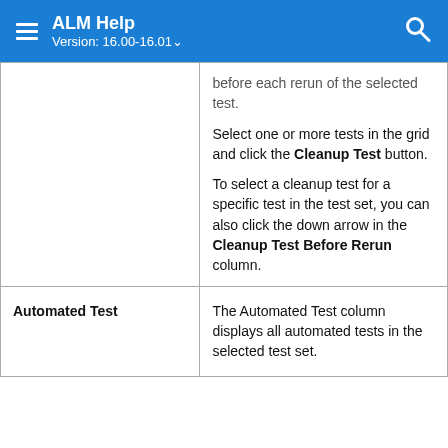ALM Help Version: 16.00-16.01
|  |  |
| --- | --- |
|  | before each rerun of the selected test.

Select one or more tests in the grid and click the Cleanup Test button.

To select a cleanup test for a specific test in the test set, you can also click the down arrow in the Cleanup Test Before Rerun column. |
| Automated Test | The Automated Test column displays all automated tests in the selected test set. |